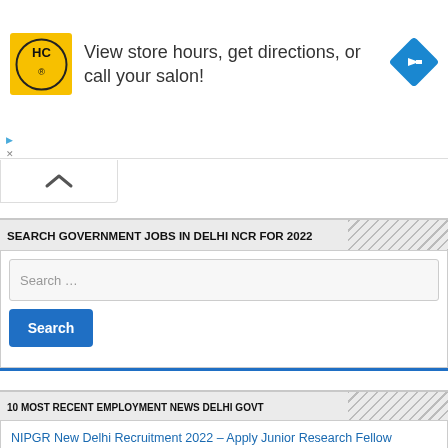[Figure (infographic): Advertisement banner: HC logo (yellow) with text 'View store hours, get directions, or call your salon!' and a blue navigation diamond icon on the right]
SEARCH GOVERNMENT JOBS IN DELHI NCR FOR 2022
Search ...
Search
10 MOST RECENT EMPLOYMENT NEWS DELHI GOVT
NIPGR New Delhi Recruitment 2022 – Apply Junior Research Fellow Vacancy in National Institute of Plant Genome Research, Delhi August 26, 2022